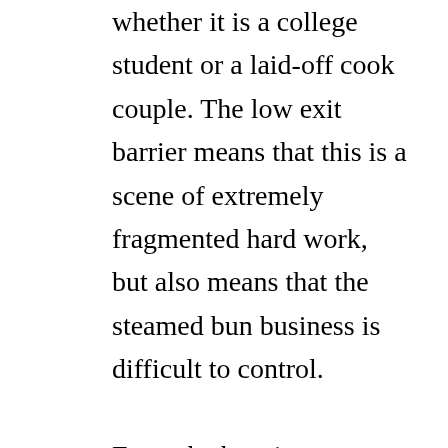whether it is a college student or a laid-off cook couple. The low exit barrier means that this is a scene of extremely fragmented hard work, but also means that the steamed bun business is difficult to control. From the baozi category itself, we can see that the convenience stores had a similar market situation in the early days, and 7-11, the whole family, histar, today and other brands just grasped a category with low entry barriers and low exit barriers, and then developed them into brands and chains. As a result, large brands with market value got up. Similarly, in order to brand the baozi category, it also needs to build the supply chain and do a good job in brand design, which is into a company into. Both of the...